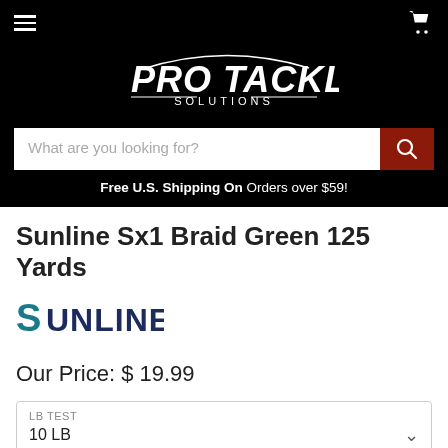[Figure (logo): Pro Tackle Solutions logo with fishing line arc on black background]
What are you looking for?
Free U.S. Shipping On Orders over $59!
Sunline Sx1 Braid Green 125 Yards
[Figure (logo): Sunline brand logo in teal and dark blue]
Our Price: $ 19.99
LB TEST
10 LB